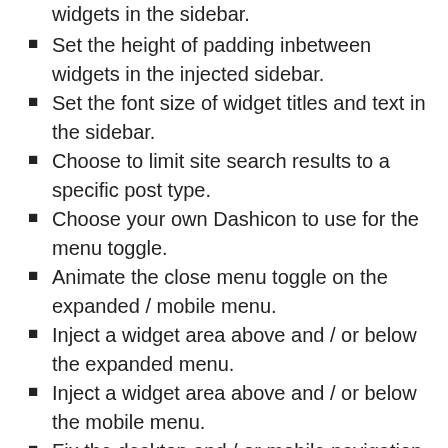widgets in the sidebar.
Set the height of padding inbetween widgets in the injected sidebar.
Set the font size of widget titles and text in the sidebar.
Choose to limit site search results to a specific post type.
Choose your own Dashicon to use for the menu toggle.
Animate the close menu toggle on the expanded / mobile menu.
Inject a widget area above and / or below the expanded menu.
Inject a widget area above and / or below the mobile menu.
Fix the desktop and / or mobile navigation using a sticky bar or button.
Set the background color of the sticky menu button.